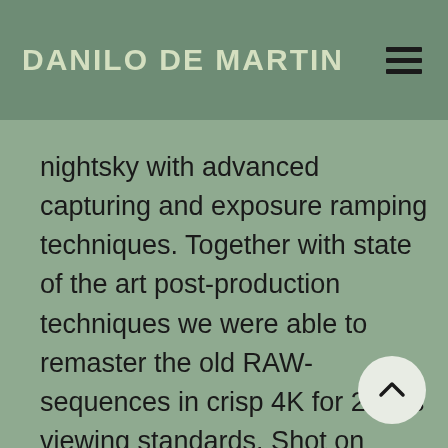DANILO DE MARTIN
nightsky with advanced capturing and exposure ramping techniques. Together with state of the art post-production techniques we were able to remaster the old RAW-sequences in crisp 4K for 2019s viewing standards. Shot on Nikon D3s (2011) and Canon 6D (2014) cameras with GBT ramping software. [...]